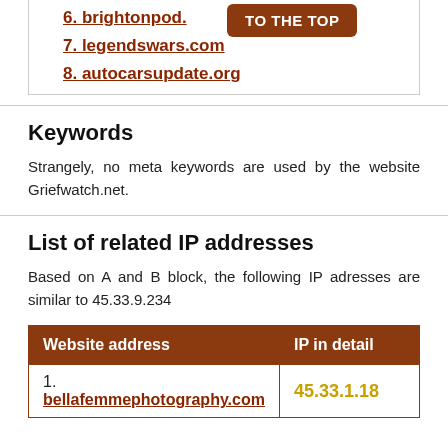6. brightonpod.…
7. legendswars.com
8. autocarsupdate.org
Keywords
Strangely, no meta keywords are used by the website Griefwatch.net.
List of related IP addresses
Based on A and B block, the following IP adresses are similar to 45.33.9.234
| Website address | IP in detail |
| --- | --- |
| 1. bellafemmephotography.com | 45.33.1.18… |